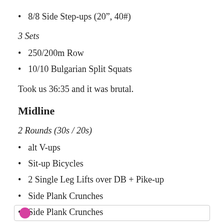8/8 Side Step-ups (20”, 40#)
3 Sets
250/200m Row
10/10 Bulgarian Split Squats
Took us 36:35 and it was brutal.
Midline
2 Rounds (30s / 20s)
alt V-ups
Sit-up Bicycles
2 Single Leg Lifts over DB + Pike-up
Side Plank Crunches
Side Plank Crunches